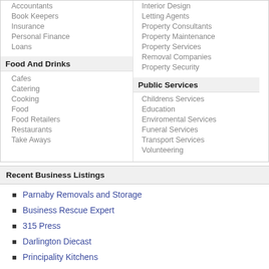Accountants
Book Keepers
Insurance
Personal Finance
Loans
Interior Design
Letting Agents
Property Consultants
Property Maintenance
Property Services
Removal Companies
Property Security
Food And Drinks
Cafes
Catering
Cooking
Food
Food Retailers
Restaurants
Take Aways
Public Services
Childrens Services
Education
Enviromental Services
Funeral Services
Transport Services
Volunteering
Recent Business Listings
Parnaby Removals and Storage
Business Rescue Expert
315 Press
Darlington Diecast
Principality Kitchens